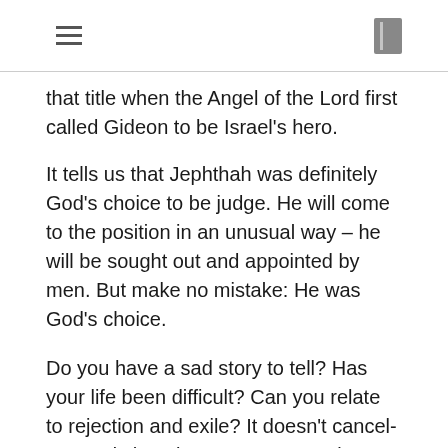that title when the Angel of the Lord first called Gideon to be Israel's hero.
It tells us that Jephthah was definitely God's choice to be judge. He will come to the position in an unusual way – he will be sought out and appointed by men. But make no mistake: He was God's choice.
Do you have a sad story to tell? Has your life been difficult? Can you relate to rejection and exile? It doesn't cancel-out God choosing you to serve Him. Forget those things that are in your past, and concentrate on the new creation you are in Jesus Christ.